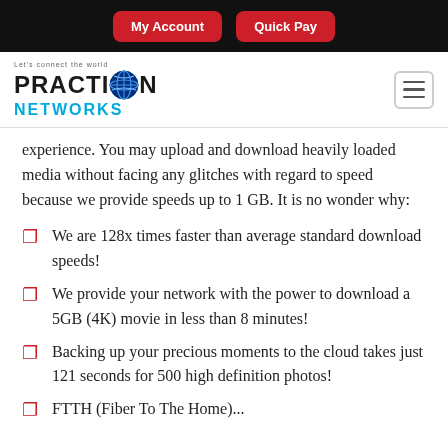My Account | Quick Pay
[Figure (logo): Praction Networks logo with globe graphic and tagline 'Let's connect the world']
experience. You may upload and download heavily loaded media without facing any glitches with regard to speed because we provide speeds up to 1 GB. It is no wonder why:
We are 128x times faster than average standard download speeds!
We provide your network with the power to download a 5GB (4K) movie in less than 8 minutes!
Backing up your precious moments to the cloud takes just 121 seconds for 500 high definition photos!
Our FTTH (Fiber To The Home) service comes with the do...